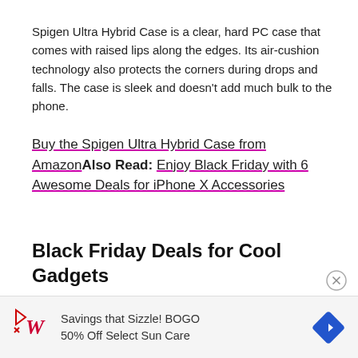Spigen Ultra Hybrid Case is a clear, hard PC case that comes with raised lips along the edges. Its air-cushion technology also protects the corners during drops and falls. The case is sleek and doesn't add much bulk to the phone.
Buy the Spigen Ultra Hybrid Case from AmazonAlso Read: Enjoy Black Friday with 6 Awesome Deals for iPhone X Accessories
Black Friday Deals for Cool Gadgets
[Figure (other): Walgreens advertisement banner: Play button icon, Walgreens cursive W logo, text 'Savings that Sizzle! BOGO 50% Off Select Sun Care', blue diamond-shaped navigation icon with white arrow]